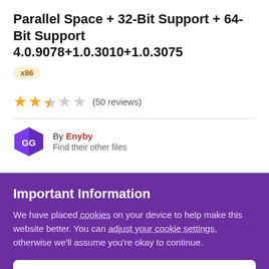Parallel Space + 32-Bit Support + 64-Bit Support 4.0.9078+1.0.3010+1.0.3075
x86
★★★☆☆ (50 reviews)
By Enyby
Find their other files
Important Information
We have placed cookies on your device to help make this website better. You can adjust your cookie settings, otherwise we'll assume you're okay to continue.
✓  I accept